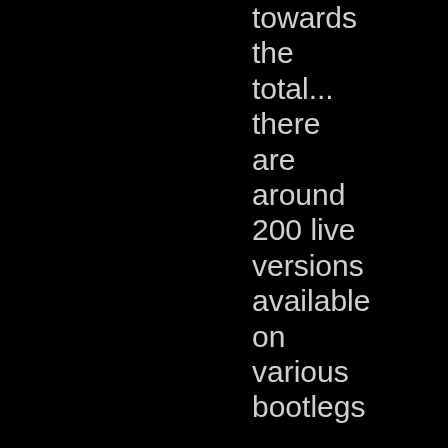towards the total... there are around 200 live versions available on various bootlegs
"Doug Anthony All Stars" and "Barry Crocker & The Doug Anthony Allstars"